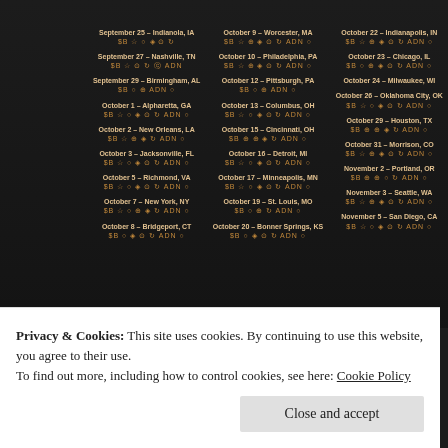[Figure (screenshot): Concert tour date listing on dark background with three columns of dates and cities, with ticket/artist icons next to each date. Cities include Indianapolis IA, Nashville TN, Birmingham AL, Alpharetta GA, New Orleans LA, Jacksonville FL, Richmond VA, New York NY, Bridgeport CT in first column; Worcester MA, Philadelphia PA, Pittsburgh PA, Columbus OH, Cincinnati OH, Detroit MI, Minneapolis MN, St. Louis MO, Bonner Springs KS in second column; Indianapolis IN, Chicago IL, Milwaukee WI, Oklahoma City OK, Houston TX, Morrison CO, Portland OR, Seattle WA, San Diego CA in third column. Legend bar at bottom with icons. Red logo and URL strip below.]
Privacy & Cookies: This site uses cookies. By continuing to use this website, you agree to their use.
To find out more, including how to control cookies, see here: Cookie Policy
Close and accept